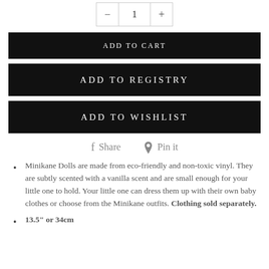- 1 +
ADD TO CART
ADD TO REGISTRY
ADD TO WISHLIST
f Share   Pin it
Minikane Dolls are made from eco-friendly and non-toxic vinyl. They are subtly scented with a vanilla scent and are small enough for your little one to hold. Your little one can dress them up with their own baby clothes or choose from the Minikane outfits. Clothing sold separately.
13.5" or 34cm